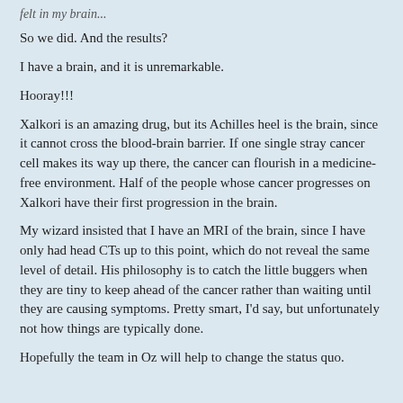So we did. And the results?
I have a brain, and it is unremarkable.
Hooray!!!
Xalkori is an amazing drug, but its Achilles heel is the brain, since it cannot cross the blood-brain barrier. If one single stray cancer cell makes its way up there, the cancer can flourish in a medicine-free environment. Half of the people whose cancer progresses on Xalkori have their first progression in the brain.
My wizard insisted that I have an MRI of the brain, since I have only had head CTs up to this point, which do not reveal the same level of detail. His philosophy is to catch the little buggers when they are tiny to keep ahead of the cancer rather than waiting until they are causing symptoms. Pretty smart, I'd say, but unfortunately not how things are typically done.
Hopefully the team in Oz will help to change the status quo.